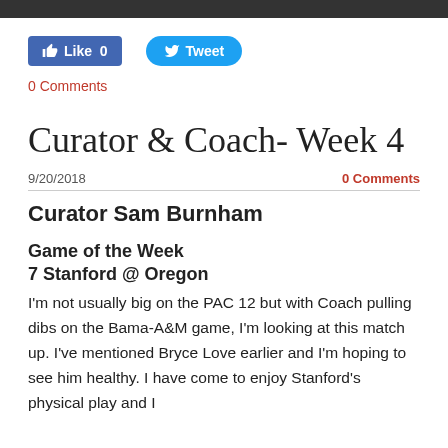[Figure (other): Facebook Like button (0 likes) and Twitter Tweet button]
0 Comments
Curator & Coach- Week 4
9/20/2018
0 Comments
Curator Sam Burnham
Game of the Week
7 Stanford @ Oregon
I'm not usually big on the PAC 12 but with Coach pulling dibs on the Bama-A&M game, I'm looking at this match up. I've mentioned Bryce Love earlier and I'm hoping to see him healthy. I have come to enjoy Stanford's physical play and I